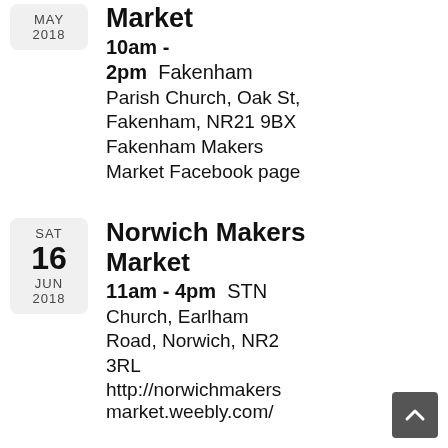MAY 2018 — Market 10am - 2pm  Fakenham Parish Church, Oak St, Fakenham, NR21 9BX  Fakenham Makers Market Facebook page
SAT 16 JUN 2018 — Norwich Makers Market  11am - 4pm  STN Church, Earlham Road, Norwich, NR2 3RL  http://norwichmakersmarket.weebly.com/